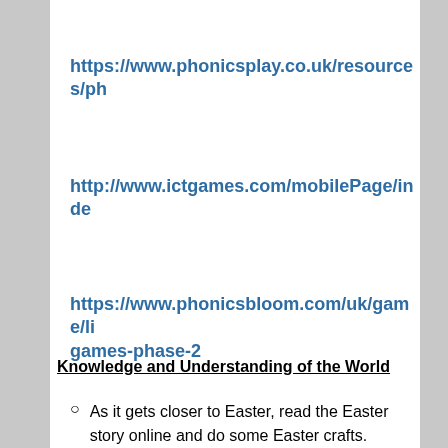https://www.phonicsplay.co.uk/resources/ph
http://www.ictgames.com/mobilePage/inde
https://www.phonicsbloom.com/uk/game/li games-phase-2
Knowledge and Understanding of the World
As it gets closer to Easter, read the Easter story online and do some Easter crafts.